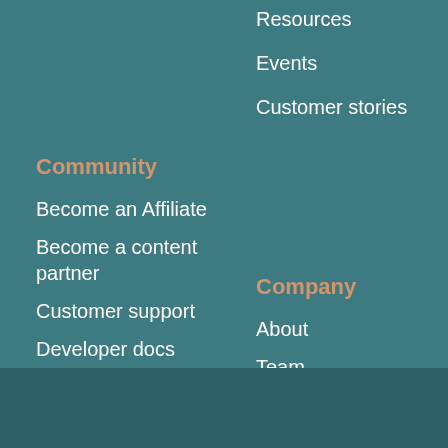Resources
Events
Customer stories
Community
Become an Affiliate
Become a content partner
Customer support
Developer docs
Company
About
Team
Careers
CRS
Contact
1300 552 914